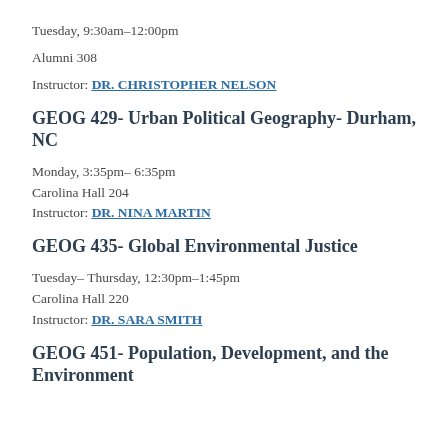Tuesday, 9:30am–12:00pm
Alumni 308
Instructor: DR. CHRISTOPHER NELSON
GEOG 429- Urban Political Geography- Durham, NC
Monday, 3:35pm– 6:35pm
Carolina Hall 204
Instructor: DR. NINA MARTIN
GEOG 435- Global Environmental Justice
Tuesday– Thursday, 12:30pm–1:45pm
Carolina Hall 220
Instructor: DR. SARA SMITH
GEOG 451- Population, Development, and the Environment